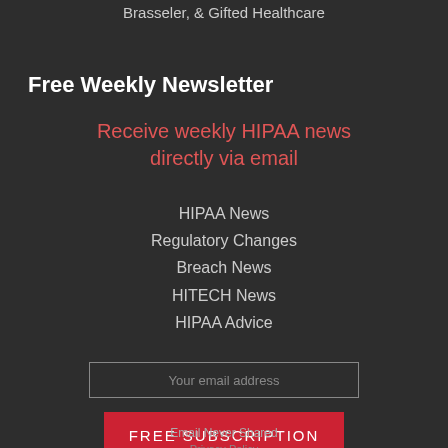Brasseler, & Gifted Healthcare
Free Weekly Newsletter
Receive weekly HIPAA news directly via email
HIPAA News
Regulatory Changes
Breach News
HITECH News
HIPAA Advice
Your email address
Free Subscription
Email Never Shared
Cancel Any Time
Privacy Policy